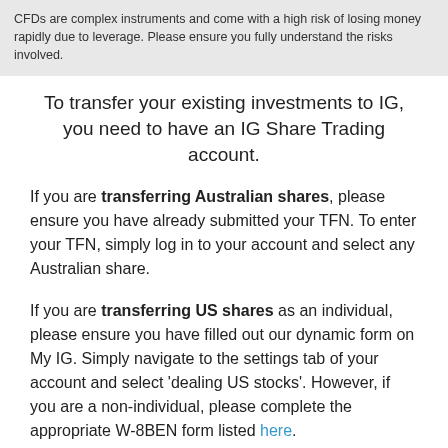CFDs are complex instruments and come with a high risk of losing money rapidly due to leverage. Please ensure you fully understand the risks involved.
To transfer your existing investments to IG, you need to have an IG Share Trading account.
If you are transferring Australian shares, please ensure you have already submitted your TFN. To enter your TFN, simply log in to your account and select any Australian share.
If you are transferring US shares as an individual, please ensure you have filled out our dynamic form on My IG. Simply navigate to the settings tab of your account and select 'dealing US stocks'. However, if you are a non-individual, please complete the appropriate W-8BEN form listed here.